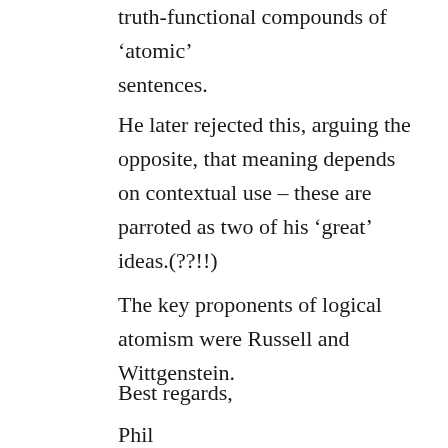truth-functional compounds of 'atomic' sentences.
He later rejected this, arguing the opposite, that meaning depends on contextual use – these are parroted as two of his 'great' ideas.(??!!)
The key proponents of logical atomism were Russell and Wittgenstein.
Best regards,
Phil